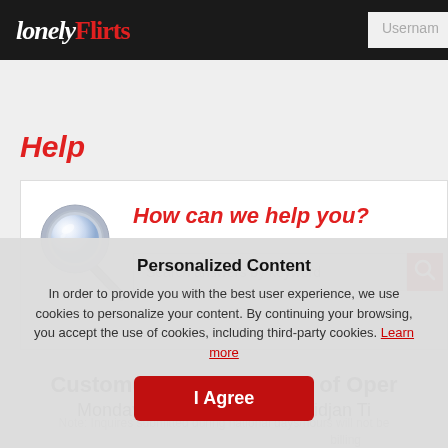[Figure (logo): LonelyFlirts logo in white and red italic text on dark background]
Help
How can we help you?
Search answers by keyword
Customer Support Hours of Operation
Monday-Friday 3pm-12am Abidjan Time
Note: Inquires submitted during national days/hours will not be answered. For billing inquiries, please use your account settings.
We have found 1 answer to your request
Personalized Content
In order to provide you with the best user experience, we use cookies to personalize your content. By continuing your browsing, you accept the use of cookies, including third-party cookies. Learn more
I Agree